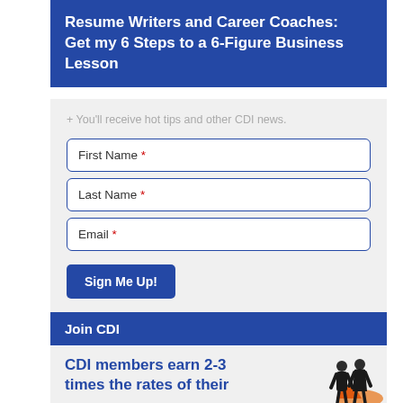Resume Writers and Career Coaches: Get my 6 Steps to a 6-Figure Business Lesson
+ You'll receive hot tips and other CDI news.
First Name *
Last Name *
Email *
Sign Me Up!
Join CDI
CDI members earn 2-3 times the rates of their